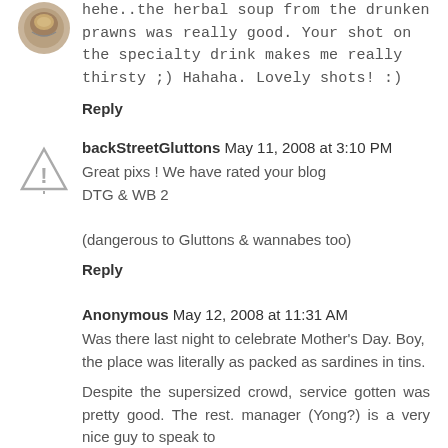[Figure (photo): Small circular avatar image (coin or food) at top left]
hehe..the herbal soup from the drunken prawns was really good. Your shot on the specialty drink makes me really thirsty ;) Hahaha. Lovely shots! :)
Reply
[Figure (illustration): Warning triangle icon used as avatar for backStreetGluttons]
backStreetGluttons May 11, 2008 at 3:10 PM
Great pixs ! We have rated your blog
DTG & WB 2

(dangerous to Gluttons & wannabes too)
Reply
Anonymous May 12, 2008 at 11:31 AM
Was there last night to celebrate Mother's Day. Boy, the place was literally as packed as sardines in tins.
Despite the supersized crowd, service gotten was pretty good. The rest. manager (Yong?) is a very nice guy to speak to